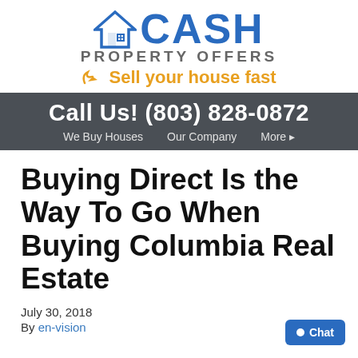[Figure (logo): Cash Property Offers logo with house icon, 'CASH' in blue, 'PROPERTY OFFERS' in gray, and 'Sell your house fast' in orange with arrow]
Call Us! (803) 828-0872
We Buy Houses   Our Company   More ▸
Buying Direct Is the Way To Go When Buying Columbia Real Estate
July 30, 2018
By en-vision